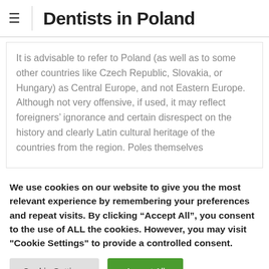Dentists in Poland
It is advisable to refer to Poland (as well as to some other countries like Czech Republic, Slovakia, or Hungary) as Central Europe, and not Eastern Europe. Although not very offensive, if used, it may reflect foreigners’ ignorance and certain disrespect on the history and clearly Latin cultural heritage of the countries from the region. Poles themselves
We use cookies on our website to give you the most relevant experience by remembering your preferences and repeat visits. By clicking “Accept All”, you consent to the use of ALL the cookies. However, you may visit "Cookie Settings" to provide a controlled consent.
Cookie Settings | Accept All